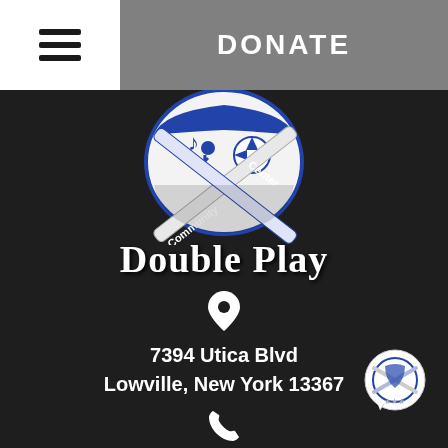[Figure (logo): Hamburger menu icon (three horizontal lines) in top-left header area]
DONATE
[Figure (logo): Double Play Community Center circular logo with baseball bats, sports imagery, musical note, and blue/white colors]
Double Play
[Figure (infographic): Map pin / location icon in white]
7394 Utica Blvd
Lowville, New York 13367
[Figure (infographic): Phone icon in white]
(315) 376-7001
[Figure (infographic): Envelope / mail icon in white]
Contact
[Figure (logo): Small circular Double Play logo in bottom right corner with chat bubble style]